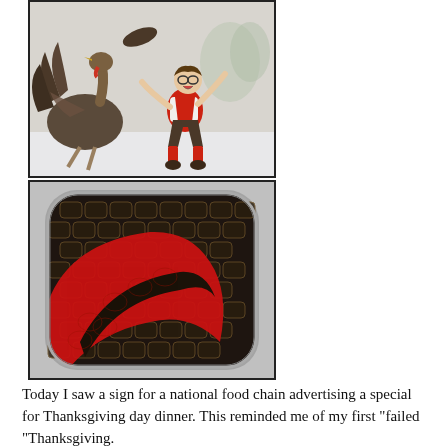[Figure (illustration): Classic illustration of a boy in red vest and knickers being chased by a turkey in a snowy scene. The boy appears startled, running away, with the turkey in pursuit.]
[Figure (photo): A close-up photo of what appears to be a decorative tin or case with a dark crocodile/reptile skin texture pattern and a red curved shape against the dark background, in a rounded square form.]
Today I saw a sign for a national food chain advertising a special for Thanksgiving day dinner.  This reminded me of my first "failed "Thanksgiving.